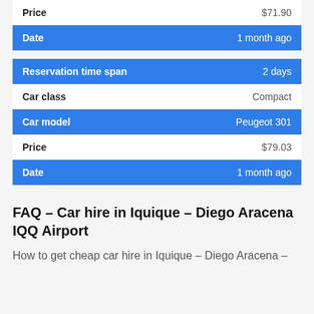| Price | $71.90 |
| Date | 1 month ago |
| Reservation time span | 2 days |
| Car class | Compact |
| Car model | Peugeot 301 |
| Price | $79.03 |
| Date | 1 month ago |
FAQ – Car hire in Iquique – Diego Aracena IQQ Airport
How to get cheap car hire in Iquique – Diego Aracena –